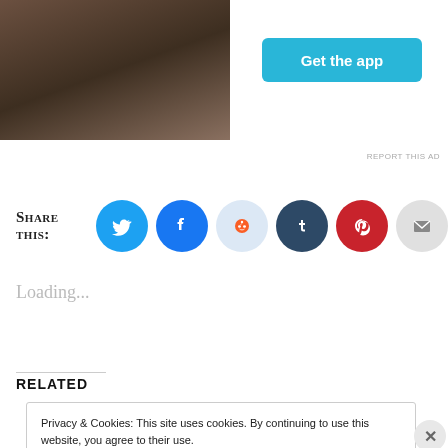[Figure (photo): Partial photo of a person in a white t-shirt sitting outdoors on rocks, cropped at top.]
[Figure (other): Get the app button - cyan/teal rounded rectangle with white bold text]
REPORT THIS AD
Share this:
[Figure (other): Social sharing icons: Twitter (blue bird), Facebook (blue f), Reddit (light blue alien), Tumblr (dark blue t), Pinterest (red P), Email (gray envelope)]
Loading...
Related
Privacy & Cookies: This site uses cookies. By continuing to use this website, you agree to their use.
To find out more, including how to control cookies, see here:
Cookie Policy
Close and accept